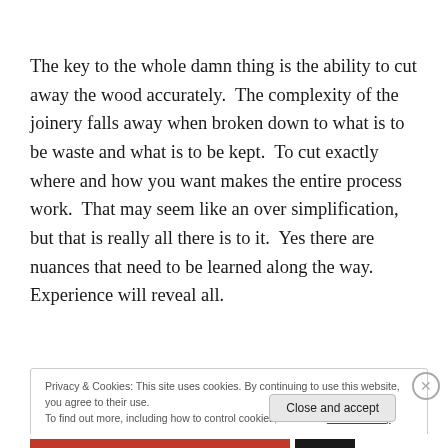The key to the whole damn thing is the ability to cut away the wood accurately.  The complexity of the joinery falls away when broken down to what is to be waste and what is to be kept.  To cut exactly where and how you want makes the entire process work.  That may seem like an over simplification, but that is really all there is to it.  Yes there are nuances that need to be learned along the way.  Experience will reveal all.
Privacy & Cookies: This site uses cookies. By continuing to use this website, you agree to their use.
To find out more, including how to control cookies, see here: Cookie Policy